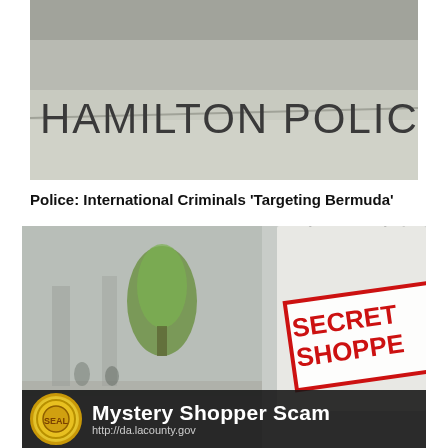[Figure (photo): Photograph of Hamilton Police Station exterior wall with large serif lettering reading 'HAMILTON POLICE STATION']
Police: International Criminals 'Targeting Bermuda'
[Figure (photo): Composite image showing a shopping mall interior overlaid with a shopping bag featuring a red 'SECRET SHOPPER' stamp. Bottom bar reads 'Mystery Shopper Scam http://da.lacounty.gov' with a gold badge icon.]